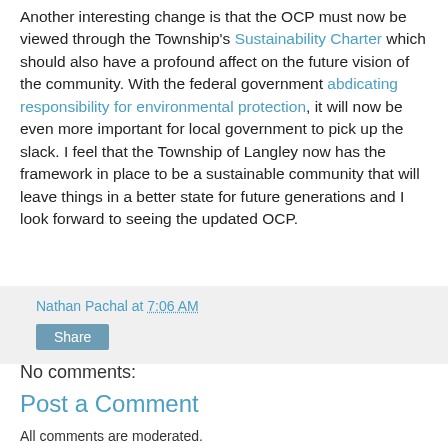Another interesting change is that the OCP must now be viewed through the Township's Sustainability Charter which should also have a profound affect on the future vision of the community. With the federal government abdicating responsibility for environmental protection, it will now be even more important for local government to pick up the slack. I feel that the Township of Langley now has the framework in place to be a sustainable community that will leave things in a better state for future generations and I look forward to seeing the updated OCP.
Nathan Pachal at 7:06 AM
Share
No comments:
Post a Comment
All comments are moderated.